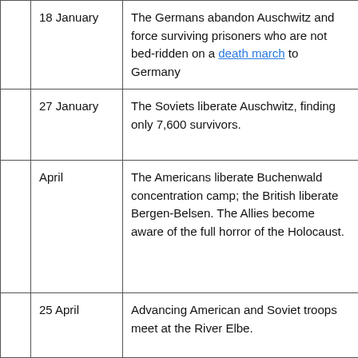|  | Date | Event |
| --- | --- | --- |
|  | 18 January | The Germans abandon Auschwitz and force surviving prisoners who are not bed-ridden on a death march to Germany |
|  | 27 January | The Soviets liberate Auschwitz, finding only 7,600 survivors. |
|  | April | The Americans liberate Buchenwald concentration camp; the British liberate Bergen-Belsen. The Allies become aware of the full horror of the Holocaust. |
|  | 25 April | Advancing American and Soviet troops meet at the River Elbe. |
|  | 30 April | Hitler commits suicide in his bunker in Berlin. |
|  | 7 May | Germany surrenders |
|  | 8 May | VE (Victory in Europe) Day – the war in Europe is over (the war against Japan continues). |